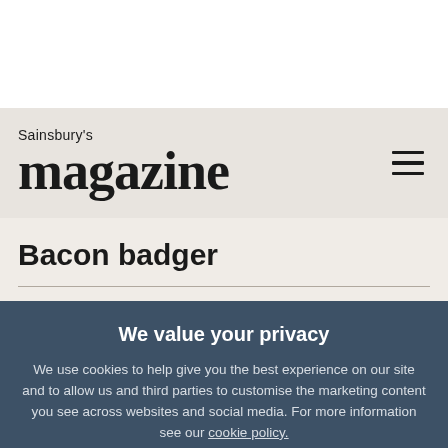Sainsbury's magazine
Bacon badger
We value your privacy
We use cookies to help give you the best experience on our site and to allow us and third parties to customise the marketing content you see across websites and social media. For more information see our cookie policy.
Manage Preferences
Accept All Cookies